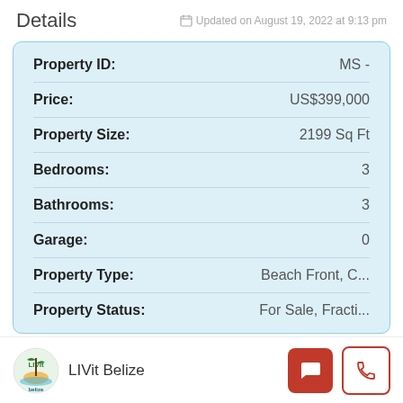Details   Updated on August 19, 2022 at 9:13 pm
| Field | Value |
| --- | --- |
| Property ID: | MS - |
| Price: | US$399,000 |
| Property Size: | 2199 Sq Ft |
| Bedrooms: | 3 |
| Bathrooms: | 3 |
| Garage: | 0 |
| Property Type: | Beach Front, C... |
| Property Status: | For Sale, Fracti... |
LIVit Belize